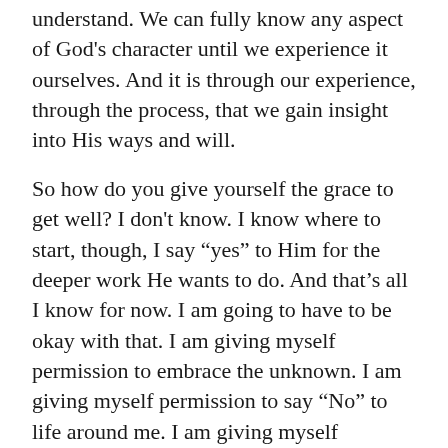understand. We can fully know any aspect of God's character until we experience it ourselves. And it is through our experience, through the process, that we gain insight into His ways and will.
So how do you give yourself the grace to get well? I don't know. I know where to start, though, I say “yes” to Him for the deeper work He wants to do. And that’s all I know for now. I am going to have to be okay with that. I am giving myself permission to embrace the unknown. I am giving myself permission to say “No” to life around me. I am giving myself permission to be messy. I am giving myself permission to be in process and not have all the answers. And I am giving Him permission to come into all of it and show me the way.